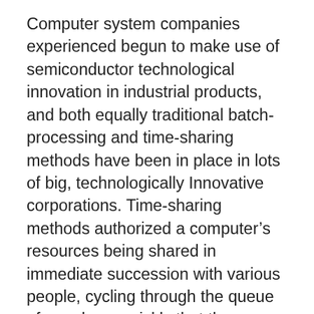Computer system companies experienced begun to make use of semiconductor technological innovation in industrial products, and both equally traditional batch-processing and time-sharing methods have been in place in lots of big, technologically Innovative corporations. Time-sharing methods authorized a computer's resources being shared in immediate succession with various people, cycling through the queue of people so quickly that the computer appeared dedicated to Each and every consumer's duties despite the existence of numerous Other people accessing the program “concurrently.” This led to the notion of sharing Computer system resources (known as host personal computers or simply hosts) around a whole network. Host-to-host interactions have been envisioned, along with access to specialised resources (including supercomputers and mass storage methods) and interactive obtain by remote people to the computational powers of your